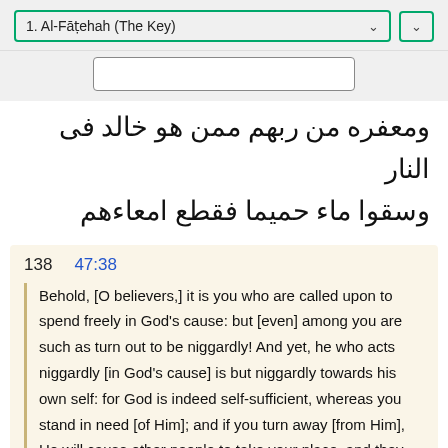1. Al-Fāṭehah (The Key)
[Figure (screenshot): Search input box, empty]
ومعفره من ربهم ممن هو خالد فى النار
وسقوا ماء حميما فقطع امعاءهم
138    47:38
Behold, [O believers,] it is you who are called upon to spend freely in God's cause: but [even] among you are such as turn out to be niggardly! And yet, he who acts niggardly [in God's cause] is but niggardly towards his own self: for God is indeed self-sufficient, whereas you stand in need [of Him]; and if you turn away [from Him], He will cause other people to take your place, and they will not be the likes of you!
haantm haalaa tdAwn ltnfqwa fy sbyl allh fmnkm mn ybKl